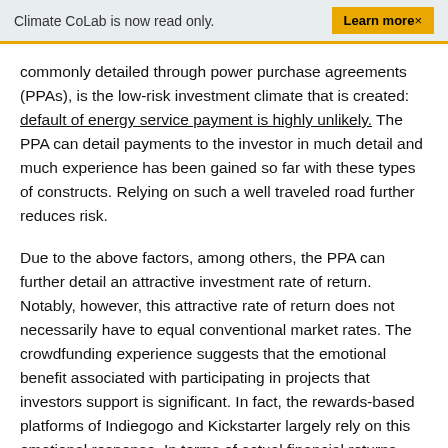Climate CoLab is now read only.   Learn more×
commonly detailed through power purchase agreements (PPAs), is the low-risk investment climate that is created: default of energy service payment is highly unlikely. The PPA can detail payments to the investor in much detail and much experience has been gained so far with these types of constructs. Relying on such a well traveled road further reduces risk.
Due to the above factors, among others, the PPA can further detail an attractive investment rate of return. Notably, however, this attractive rate of return does not necessarily have to equal conventional market rates. The crowdfunding experience suggests that the emotional benefit associated with participating in projects that investors support is significant. In fact, the rewards-based platforms of Indiegogo and Kickstarter largely rely on this emotional response. In terms of actual financial returns instead of perks, Mosaic, similarly, has found considerable investment appetite at relatively low investment rates of return. These lines of evidence suggest that a 4-6% rate